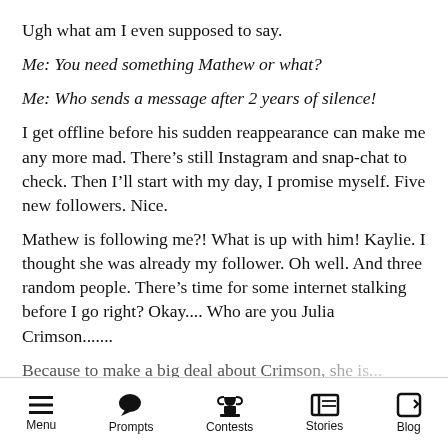Ugh what am I even supposed to say.
Me: You need something Mathew or what?
Me: Who sends a message after 2 years of silence!
I get offline before his sudden reappearance can make me any more mad. There’s still Instagram and snap-chat to check. Then I’ll start with my day, I promise myself. Five new followers. Nice.
Mathew is following me?! What is up with him! Kaylie. I thought she was already my follower. Oh well. And three random people. There’s time for some internet stalking before I go right? Okay.... Who are you Julia Crimson.......
Menu | Prompts | Contests | Stories | Blog